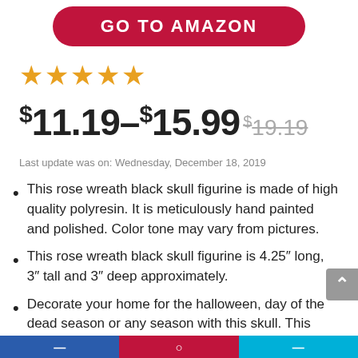[Figure (other): GO TO AMAZON red rounded button]
★★★★★
$11.19–$15.99 $19.19
Last update was on: Wednesday, December 18, 2019
This rose wreath black skull figurine is made of high quality polyresin. It is meticulously hand painted and polished. Color tone may vary from pictures.
This rose wreath black skull figurine is 4.25" long, 3" tall and 3" deep approximately.
Decorate your home for the halloween, day of the dead season or any season with this skull. This